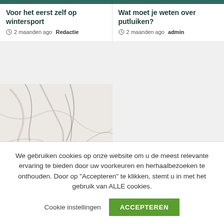Voor het eerst zelf op wintersport
2 maanden ago Redactie
Wat moet je weten over putluiken?
2 maanden ago admin
[Figure (photo): Marble texture image with label 'Uitvaart']
We gebruiken cookies op onze website om u de meest relevante ervaring te bieden door uw voorkeuren en herhaalbezoeken te onthouden. Door op "Accepteren" te klikken, stemt u in met het gebruik van ALLE cookies.
Cookie instellingen  ACCEPTEREN